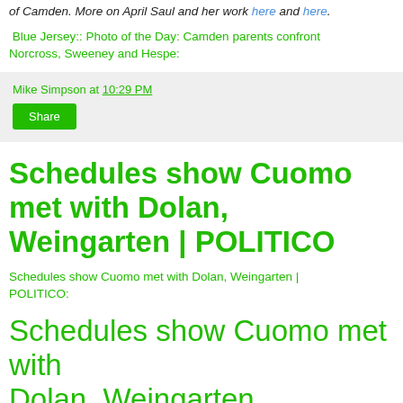of Camden. More on April Saul and her work here and here.
Blue Jersey:: Photo of the Day: Camden parents confront Norcross, Sweeney and Hespe:
Mike Simpson at 10:29 PM
Share
Schedules show Cuomo met with Dolan, Weingarten | POLITICO
Schedules show Cuomo met with Dolan, Weingarten | POLITICO:
Schedules show Cuomo met with Dolan, Weingarten